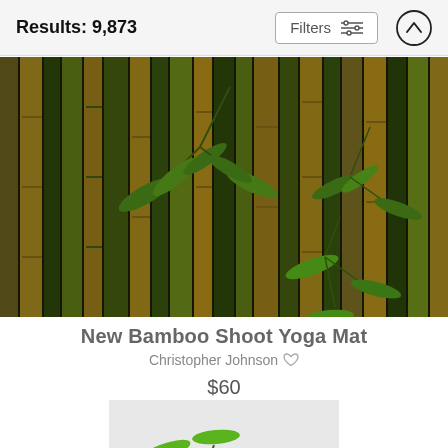Results: 9,873  Filters  [up arrow]
[Figure (photo): Close-up photograph of green and golden bamboo stalks with fresh bamboo shoots and leaves]
New Bamboo Shoot Yoga Mat
Christopher Johnson ♡
$60
[Figure (photo): Partial view of a second product image showing bamboo leaves against a light/white background]